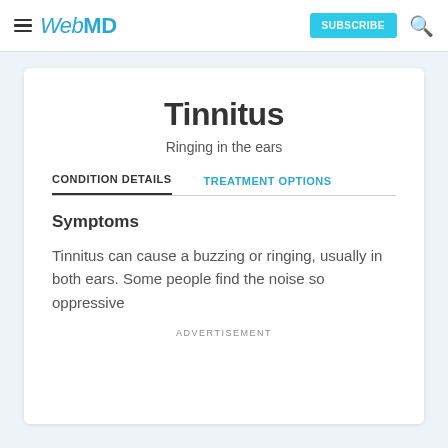WebMD | SUBSCRIBE
Tinnitus
Ringing in the ears
CONDITION DETAILS | TREATMENT OPTIONS
Symptoms
Tinnitus can cause a buzzing or ringing, usually in both ears. Some people find the noise so oppressive
ADVERTISEMENT